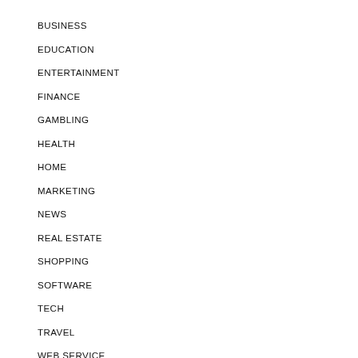BUSINESS
EDUCATION
ENTERTAINMENT
FINANCE
GAMBLING
HEALTH
HOME
MARKETING
NEWS
REAL ESTATE
SHOPPING
SOFTWARE
TECH
TRAVEL
WEB SERVICE